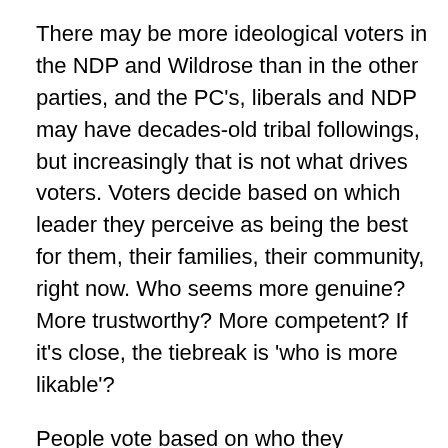There may be more ideological voters in the NDP and Wildrose than in the other parties, and the PC's, liberals and NDP may have decades-old tribal followings, but increasingly that is not what drives voters. Voters decide based on which leader they perceive as being the best for them, their families, their community, right now. Who seems more genuine? More trustworthy? More competent? If it's close, the tiebreak is 'who is more likable'?
People vote based on who they perceive cares about the issues most important to them. Their job, healthcare, education. Not who promises to build more schools, but who they believe will make the right decisions to better educate their children. Does that mean more schools; more teachers? Perhaps those are proxies, but if they don't believe you can get it done, or worse yet, that you